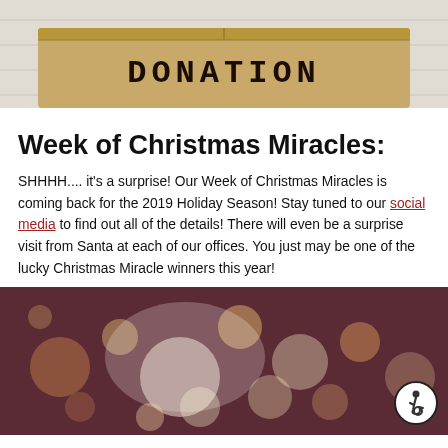[Figure (photo): A cardboard donation box with the word DONATION stamped on it in bold black letters, sitting on a white wooden surface]
Week of Christmas Miracles:
SHHHH.... it's a surprise! Our Week of Christmas Miracles is coming back for the 2019 Holiday Season! Stay tuned to our social media to find out all of the details! There will even be a surprise visit from Santa at each of our offices. You just may be one of the lucky Christmas Miracle winners this year!
[Figure (photo): Blurred bokeh background with warm pink, gold and white circular lights, creating a festive Christmas atmosphere]